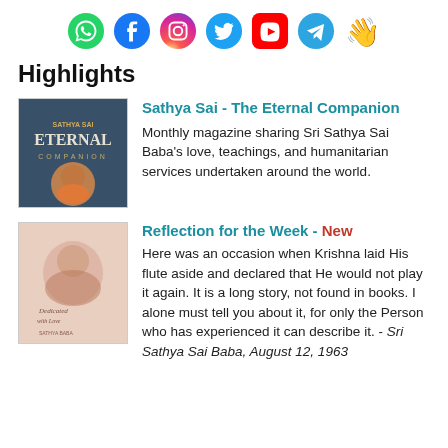[Figure (infographic): Social media icons row: WhatsApp (green), Facebook (blue), Instagram (gradient), Twitter (blue bird), YouTube (red), Telegram (blue), waving hand emoji]
Highlights
[Figure (photo): Book cover for 'Sathya Sai - The Eternal Companion' showing Sathya Sai Baba in orange robes]
Sathya Sai - The Eternal Companion
Monthly magazine sharing Sri Sathya Sai Baba's love, teachings, and humanitarian services undertaken around the world.
[Figure (photo): Book/magazine cover showing Sri Sathya Sai Baba in a soft light pink background]
Reflection for the Week - New
Here was an occasion when Krishna laid His flute aside and declared that He would not play it again. It is a long story, not found in books. I alone must tell you about it, for only the Person who has experienced it can describe it. - Sri Sathya Sai Baba, August 12, 1963